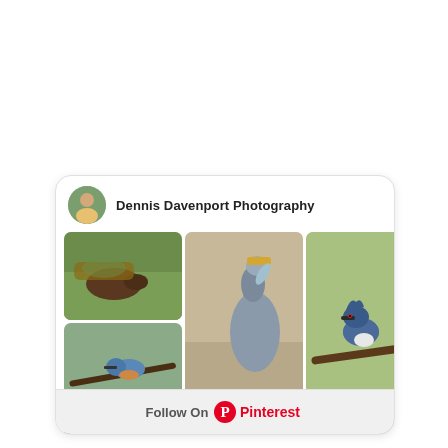[Figure (screenshot): Pinterest profile card for Dennis Davenport Photography showing a grid of wildlife/bird photography photos and a Follow On Pinterest button]